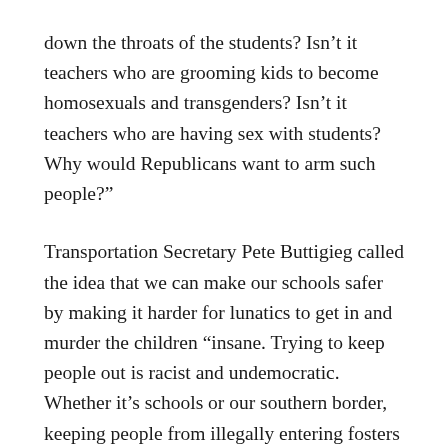down the throats of the students? Isn’t it teachers who are grooming kids to become homosexuals and transgenders? Isn’t it teachers who are having sex with students? Why would Republicans want to arm such people?”
Transportation Secretary Pete Buttigieg called the idea that we can make our schools safer by making it harder for lunatics to get in and murder the children “insane. Trying to keep people out is racist and undemocratic. Whether it’s schools or our southern border, keeping people from illegally entering fosters animosity. Animosity is what motivates people to harm others. School doors need to remain open for all. I’d like to leave my doors open but there are too many people out